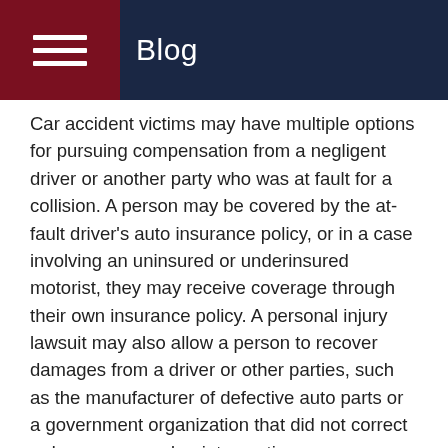Blog
Car accident victims may have multiple options for pursuing compensation from a negligent driver or another party who was at fault for a collision. A person may be covered by the at-fault driver's auto insurance policy, or in a case involving an uninsured or underinsured motorist, they may receive coverage through their own insurance policy. A personal injury lawsuit may also allow a person to recover damages from a driver or other parties, such as the manufacturer of defective auto parts or a government organization that did not correct a dangerous road or intersection.
Typically, a victim must demonstrate that the other party was responsible for an accident. In many cases, evidence will need to be gathered to show that a driver acted negligently by violating traffic laws or failing to pay...